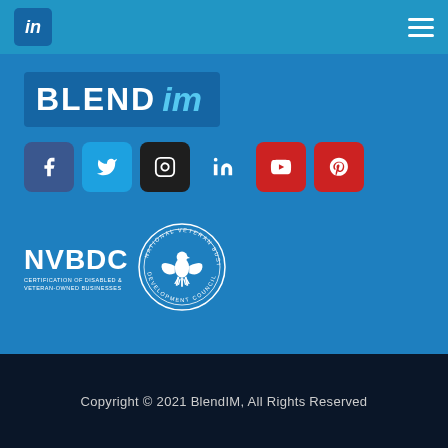[Figure (logo): LinkedIn navigation bar with LinkedIn logo top left and hamburger menu top right on blue background]
[Figure (logo): BLEND im logo in dark blue box with white bold text BLEND and light blue italic im]
[Figure (logo): Social media icons row: Facebook, Twitter, Instagram, LinkedIn, YouTube, Pinterest]
[Figure (logo): NVBDC - National Veteran Business Development Council logo with eagle emblem and circular badge. Text: NVBDC CERTIFICATION OF DISABLED & VETERAN-OWNED BUSINESSES]
Copyright © 2021 BlendIM, All Rights Reserved